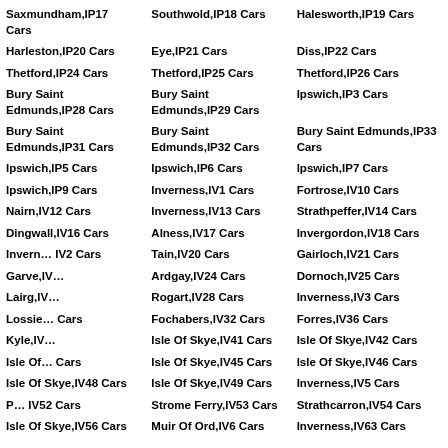Saxmundham,IP17 Cars
Southwold,IP18 Cars
Halesworth,IP19 Cars
Harleston,IP20 Cars
Eye,IP21 Cars
Diss,IP22 Cars
Thetford,IP24 Cars
Thetford,IP25 Cars
Thetford,IP26 Cars
Bury Saint Edmunds,IP28 Cars
Bury Saint Edmunds,IP29 Cars
Ipswich,IP3 Cars
Bury Saint Edmunds,IP31 Cars
Bury Saint Edmunds,IP32 Cars
Bury Saint Edmunds,IP33 Cars
Ipswich,IP5 Cars
Ipswich,IP6 Cars
Ipswich,IP7 Cars
Ipswich,IP9 Cars
Inverness,IV1 Cars
Fortrose,IV10 Cars
Nairn,IV12 Cars
Inverness,IV13 Cars
Strathpeffer,IV14 Cars
Dingwall,IV16 Cars
Alness,IV17 Cars
Invergordon,IV18 Cars
Inverness,IV2 Cars
Tain,IV20 Cars
Gairloch,IV21 Cars
Garve,IV23 Cars
Ardgay,IV24 Cars
Dornoch,IV25 Cars
Lairg,IV27 Cars
Rogart,IV28 Cars
Inverness,IV3 Cars
Lossiemouth,IV31 Cars
Fochabers,IV32 Cars
Forres,IV36 Cars
Kyle,IV40 Cars
Isle Of Skye,IV41 Cars
Isle Of Skye,IV42 Cars
Isle Of Skye,IV44 Cars
Isle Of Skye,IV45 Cars
Isle Of Skye,IV46 Cars
Isle Of Skye,IV48 Cars
Isle Of Skye,IV49 Cars
Inverness,IV5 Cars
Plockton,IV52 Cars
Strome Ferry,IV53 Cars
Strathcarron,IV54 Cars
Isle Of Skye,IV56 Cars
Muir Of Ord,IV6 Cars
Inverness,IV63 Cars